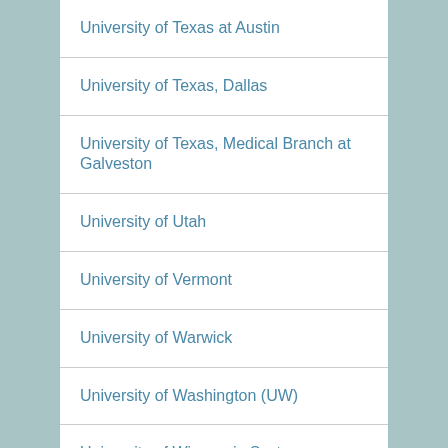University of Texas at Austin
University of Texas, Dallas
University of Texas, Medical Branch at Galveston
University of Utah
University of Vermont
University of Warwick
University of Washington (UW)
University of Wisconsin System
University of the Philippines System